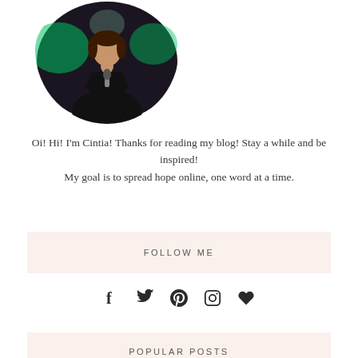[Figure (photo): Circular cropped photo of a person on stage holding a microphone, with green stage lights in the background, dark background]
Oi! Hi! I'm Cintia! Thanks for reading my blog! Stay a while and be inspired!
My goal is to spread hope online, one word at a time.
FOLLOW ME
[Figure (infographic): Social media icons: Facebook, Twitter, Pinterest, Instagram, and a heart/Bloglovin icon]
POPULAR POSTS
[Figure (photo): Two thumbnail images side by side showing blog post previews, framed with a green border]